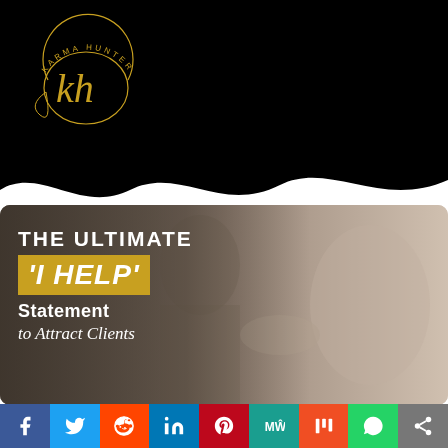[Figure (logo): Karma Hunter logo: a gold circular emblem with 'kh' script lettering and 'KARMA HUNTER' text around the ring, on a black background]
[Figure (photo): Two people shaking hands, one wearing a cream sweater, in a bright indoor setting. Overlaid text reads: THE ULTIMATE 'I HELP' Statement to Attract Clients]
[Figure (infographic): Social media share bar with icons for Facebook, Twitter, Reddit, LinkedIn, Pinterest, MeWe, Mix, WhatsApp, and a generic share button]